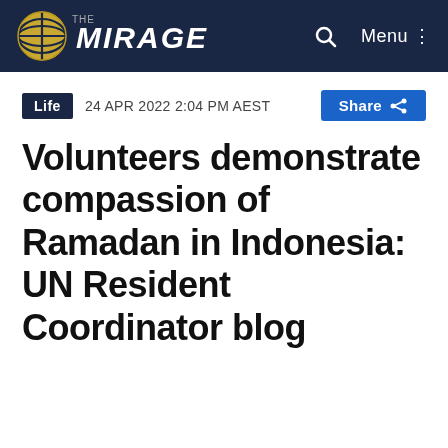THE MIRAGE
Life   24 APR 2022 2:04 PM AEST   Share
Volunteers demonstrate compassion of Ramadan in Indonesia: UN Resident Coordinator blog